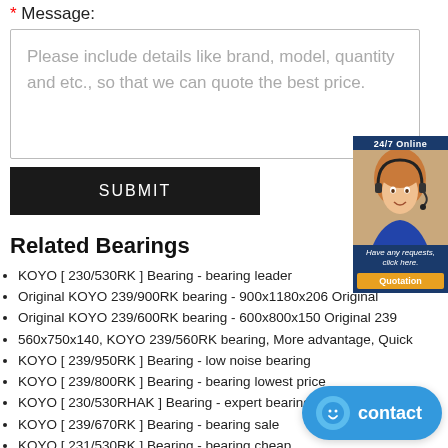* Message:
Please include details like brand, model, quantity and etc., so that we can quote the best price.
SUBMIT
[Figure (photo): 24/7 Online customer service representative photo with quotation button]
Related Bearings
KOYO [ 230/530RK ] Bearing - bearing leader
Original KOYO 239/900RK bearing - 900x1180x206 Original
Original KOYO 239/600RK bearing - 600x800x150 Original 239
560x750x140, KOYO 239/560RK bearing, More advantage, Quick
KOYO [ 239/950RK ] Bearing - low noise bearing
KOYO [ 239/800RK ] Bearing - bearing lowest price
KOYO [ 230/530RHAK ] Bearing - expert bearing
KOYO [ 239/670RK ] Bearing - bearing sale
KOYO [ 231/530RK ] Bearing - bearing cheap
Original KOYO 239/850RK bearing - 850x1120x20
KOYO [ 239/500RK ] Bearing - bearing online
[Figure (other): Blue contact button with smiley face icon]